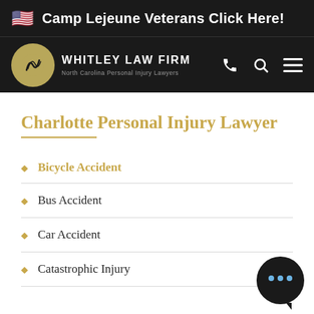Camp Lejeune Veterans Click Here!
[Figure (logo): Whitley Law Firm logo with golden circular emblem and text 'WHITLEY LAW FIRM - North Carolina Personal Injury Lawyers' on dark background with phone, search, and menu icons]
Charlotte Personal Injury Lawyer
Bicycle Accident
Bus Accident
Car Accident
Catastrophic Injury